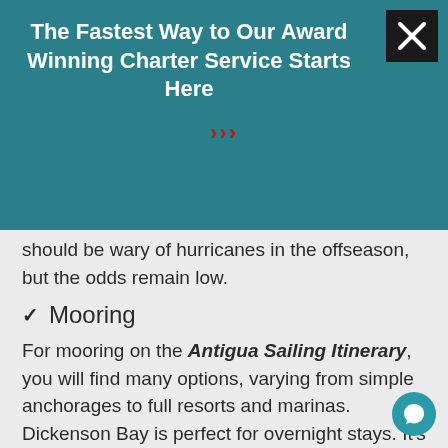The Fastest Way to Our Award Winning Charter Service Starts Here
[Figure (infographic): Red double chevron arrows pointing right (>>>)]
[Figure (infographic): Yellow 'Get Started' button on teal banner background]
should be wary of hurricanes in the offseason, but the odds remain low.
✓ Mooring
For mooring on the Antigua Sailing Itinerary, you will find many options, varying from simple anchorages to full resorts and marinas. Dickenson Bay is perfect for overnight stays. It's got a protected anchorage and with plenty of stores and shops ashore, you will find the